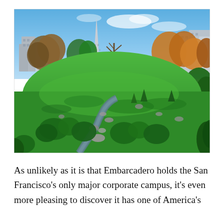[Figure (photo): Outdoor Japanese-style garden with a small stream, rounded shrubs, stepping stones, and lush green lawn. City skyline visible in background including a pyramidal spire (Transamerica Pyramid), trees with autumn foliage, and blue sky.]
As unlikely as it is that Embarcadero holds the San Francisco's only major corporate campus, it's even more pleasing to discover it has one of America's